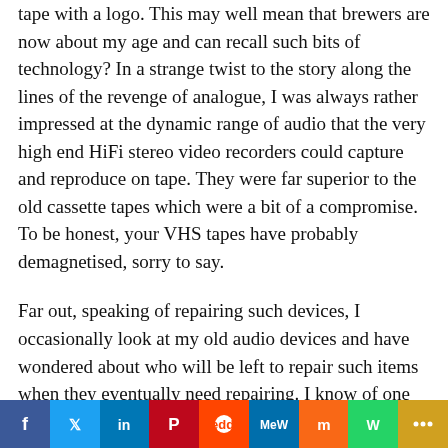tape with a logo. This may well mean that brewers are now about my age and can recall such bits of technology? In a strange twist to the story along the lines of the revenge of analogue, I was always rather impressed at the dynamic range of audio that the very high end HiFi stereo video recorders could capture and reproduce on tape. They were far superior to the old cassette tapes which were a bit of a compromise. To be honest, your VHS tapes have probably demagnetised, sorry to say.
Far out, speaking of repairing such devices, I occasionally look at my old audio devices and have wondered about who will be left to repair such items when they eventually need repairing. I know of one or two shops in Melbourne that still do that, but you know, they're few and far between. When I was a kid, such electronics repair shops were easily
[Figure (infographic): Social media share buttons bar at the bottom: Facebook (blue), Twitter (light blue), LinkedIn (dark blue), Pinterest (dark red), Reddit (orange-red), MeWe (dark cyan), Mix (orange), WhatsApp (green), More (gold/yellow)]